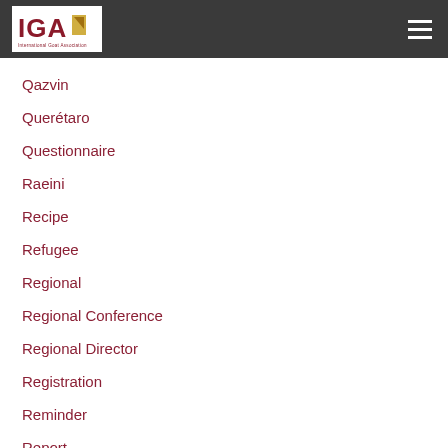IGA — International Goat Association
Qazvin
Querétaro
Questionnaire
Raeini
Recipe
Refugee
Regional
Regional Conference
Regional Director
Registration
Reminder
Report
Reproduction
Request
Research
Resistance
Rodrigo Arias Azurdia